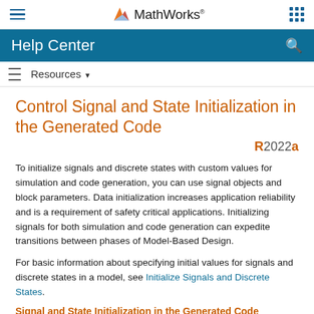MathWorks Help Center
Control Signal and State Initialization in the Generated Code
To initialize signals and discrete states with custom values for simulation and code generation, you can use signal objects and block parameters. Data initialization increases application reliability and is a requirement of safety critical applications. Initializing signals for both simulation and code generation can expedite transitions between phases of Model-Based Design.
For basic information about specifying initial values for signals and discrete states in a model, see Initialize Signals and Discrete States.
Signal and State Initialization in the Generated Code